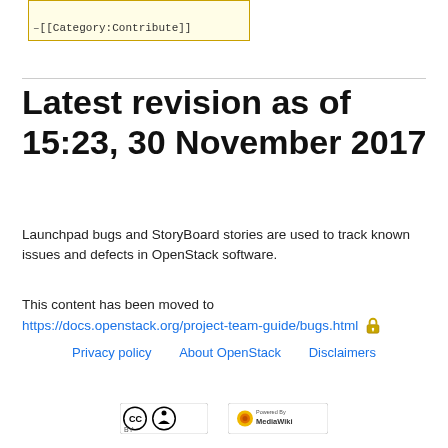[Figure (screenshot): Code box showing wiki markup: two lines, first empty, second '–[[Category:Contribute]]', with yellow background and orange border]
Latest revision as of 15:23, 30 November 2017
Launchpad bugs and StoryBoard stories are used to track known issues and defects in OpenStack software.
This content has been moved to https://docs.openstack.org/project-team-guide/bugs.html
Privacy policy   About OpenStack   Disclaimers
[Figure (logo): Creative Commons BY license badge]
[Figure (logo): Powered by MediaWiki badge]